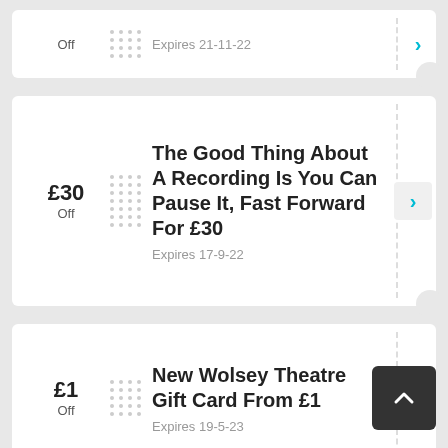Off
Expires 21-11-22
£30 Off
The Good Thing About A Recording Is You Can Pause It, Fast Forward For £30
Expires 17-9-22
£1 Off
New Wolsey Theatre Gift Card From £1
Expires 19-5-23